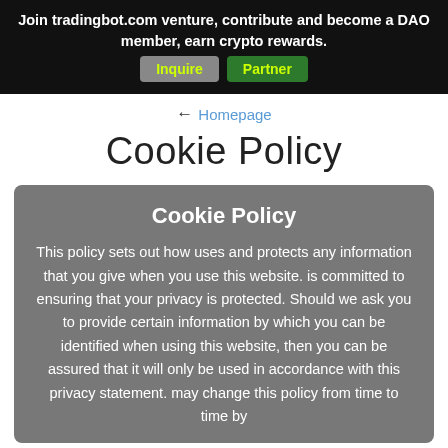Join tradingbot.com venture, contribute and become a DAO member, earn crypto rewards. Inquire Partner
← Homepage
Cookie Policy
Cookie Policy
This policy sets out how uses and protects any information that you give when you use this website. is committed to ensuring that your privacy is protected. Should we ask you to provide certain information by which you can be identified when using this website, then you can be assured that it will only be used in accordance with this privacy statement. may change this policy from time to time by